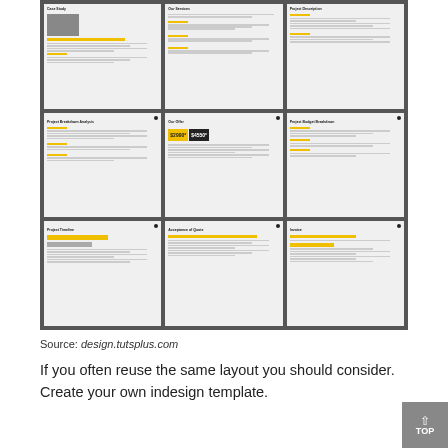[Figure (illustration): A 3x3 grid of document template thumbnails showing various design layouts including Case Study, Our Services, Project Description, Project Breakdown, Our Offer (with $2990 and $4550 pricing), Project Budget Breakdown, Project Timeline, Acceptance of Quote, and Invoice pages. Templates feature yellow accent colors and black/grey text on white backgrounds.]
Source: design.tutsplus.com
If you often reuse the same layout you should consider. Create your own indesign template.